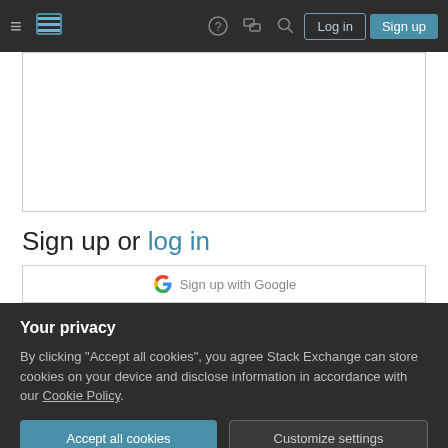Stack Exchange navigation bar with Log in and Sign up buttons
[Figure (screenshot): White bordered editor text area, empty]
Sign up or log in
[Figure (screenshot): Sign in with Google button, partially visible]
Your privacy
By clicking "Accept all cookies", you agree Stack Exchange can store cookies on your device and disclose information in accordance with our Cookie Policy.
Accept all cookies   Customize settings
Post as a guest